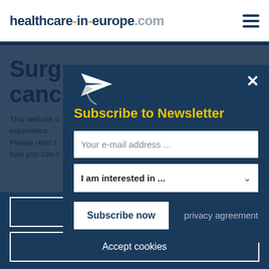healthcare-in-europe.com
Surge cancer
This website uses cookies to improve your experience. Please refer to how you can change these settings.
Subscribe to Newsletter
Your e-mail address ...
I am interested in ...
Subscribe now
privacy agreement
Refuse cookies
Accept cookies